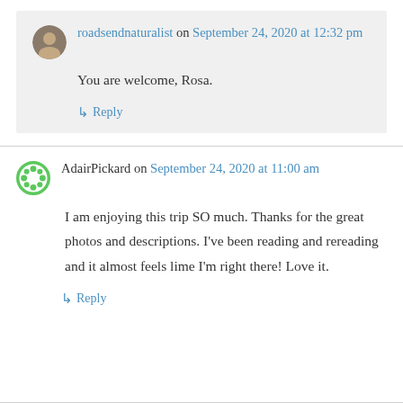roadsendnaturalist on September 24, 2020 at 12:32 pm
You are welcome, Rosa.
↳ Reply
AdairPickard on September 24, 2020 at 11:00 am
I am enjoying this trip SO much. Thanks for the great photos and descriptions. I've been reading and rereading and it almost feels lime I'm right there! Love it.
↳ Reply